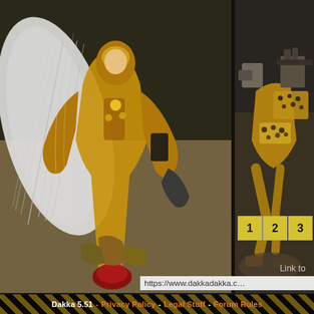[Figure (photo): Painted miniature figurine with golden armor and white feathered wings on a red base, close-up photo]
[Figure (photo): Partial view of another painted miniature figurine with spotted/leopard pattern armor on right side]
by Alfndrate
Paintjob: N/A    Coolness: N/A    Paintjob: N/A
Views: 279    Votes: 0    Views: 342
1 2 3
Link to
https://www.dakkadakka.c…
Dakka 5.51 - Privacy Policy - Legal Stuff - Forum Rules